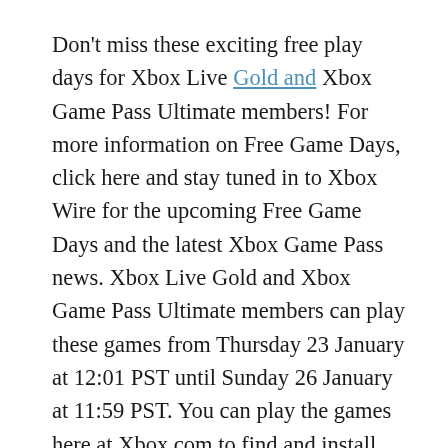Don't miss these exciting free play days for Xbox Live Gold and Xbox Game Pass Ultimate members! For more information on Free Game Days, click here and stay tuned in to Xbox Wire for the upcoming Free Game Days and the latest Xbox Game Pass news. Xbox Live Gold and Xbox Game Pass Ultimate members can play these games from Thursday 23 January at 12:01 PST until Sunday 26 January at 11:59 PST. You can play the games here at Xbox.com to find and install the games. Click and you will be taken to the Microsoft Store, where you need to sign up to see the installation option with your Xbox Live Gold subscription. Game Days Off returns this weekend with more fun games